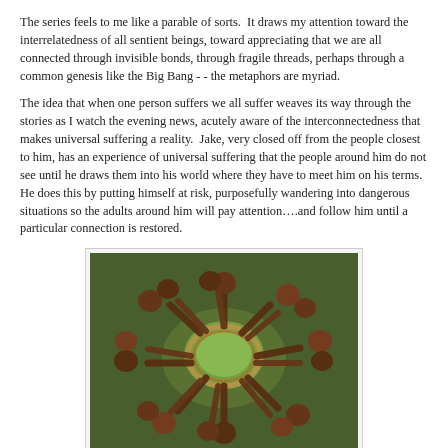The series feels to me like a parable of sorts. It draws my attention toward the interrelatedness of all sentient beings, toward appreciating that we are all connected through invisible bonds, through fragile threads, perhaps through a common genesis like the Big Bang - - the metaphors are myriad.
The idea that when one person suffers we all suffer weaves its way through the stories as I watch the evening news, acutely aware of the interconnectedness that makes universal suffering a reality. Jake, very closed off from the people closest to him, has an experience of universal suffering that the people around him do not see until he draws them into his world where they have to meet him on his terms. He does this by putting himself at risk, purposefully wandering into dangerous situations so the adults around him will pay attention....and follow him until a particular connection is restored.
[Figure (photo): A group of children sitting in a circle outdoors on grass, joining their legs inward to form a radial spoke-like pattern pointing toward the center, creating a circular communal arrangement.]
As I have watched the news and have read the newspaper articles about the numerous protests around excessive police reaction against people of color in this country, I have seen Jake in the streets, both pursued and pursuing. I see him behind the police blockades. I see him in pulpits and on street corners, in broken and dying bodies...